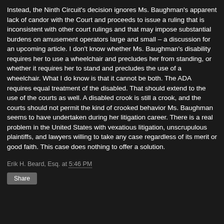Instead, the Ninth Circuit's decision ignores Ms. Baughman's apparent lack of candor with the Court and proceeds to issue a ruling that is inconsistent with other court rulings and that may impose substantial burdens on amusement operators large and small – a discussion for an upcoming article.  I don't know whether Ms. Baughman's disability requires her to use a wheelchair and precludes her from standing, or whether it requires her to stand and precludes the use of a wheelchair.  What I do know is that it cannot be both.  The ADA requires equal treatment of the disabled.  That should extend to the use of the courts as well.  A disabled crook is still a crook, and the courts should not permit the kind of crooked behavior Ms. Baughman seems to have undertaken during her litigation career.  There is a real problem in the United States with vexatious litigation, unscrupulous plaintiffs, and lawyers willing to take any case regardless of its merit or good faith.  This case does nothing to offer a solution.
Erik H. Beard, Esq. at 5:46 PM
Share